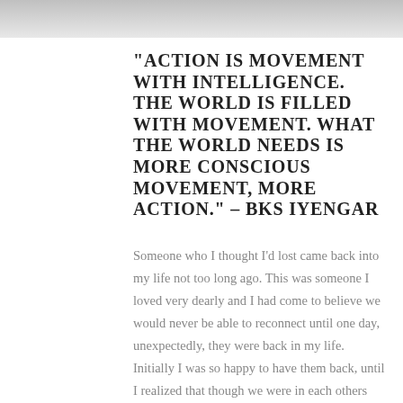[Figure (photo): Partial photo strip at the top of the page, showing a gray/blurred image]
“ACTION IS MOVEMENT WITH INTELLIGENCE. THE WORLD IS FILLED WITH MOVEMENT. WHAT THE WORLD NEEDS IS MORE CONSCIOUS MOVEMENT, MORE ACTION.” – BKS IYENGAR
Someone who I thought I’d lost came back into my life not too long ago. This was someone I loved very dearly and I had come to believe we would never be able to reconnect until one day, unexpectedly, they were back in my life. Initially I was so happy to have them back, until I realized that though we were in each others lives again, things were different and my thoughts turned to all the regret and